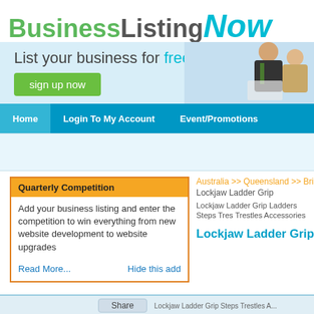[Figure (logo): BusinessListingNow logo — 'Business' in green bold, 'Listing' in grey bold, 'NOW' in cyan large italic]
[Figure (infographic): Banner: 'List your business for free!' with a green sign up now button and two business people on the right]
Home | Login To My Account | Event/Promotions
Quarterly Competition
Add your business listing and enter the competition to win everything from new website development to website upgrades
Read More...   Hide this add
Australia >> Queensland >> Brisbane A
Lockjaw Ladder Grip
Lockjaw Ladder Grip Ladders Steps Trestles Accessories Grange Business D
Lockjaw Ladder Grip ...
Share